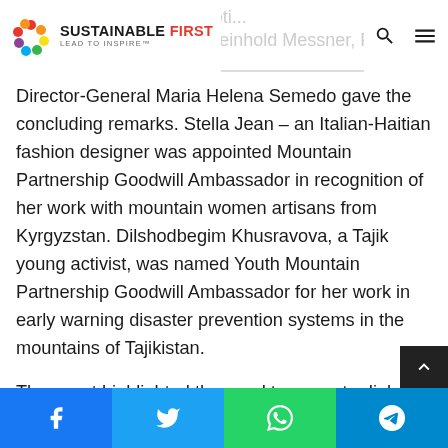SUSTAINABLE FIRST – LEAD TO INSPIRE™ | Philippines Tourism Promotion Board and mountaineer Reinhold Messner, FAO Deputy
Director-General Maria Helena Semedo gave the concluding remarks. Stella Jean – an Italian-Haitian fashion designer was appointed Mountain Partnership Goodwill Ambassador in recognition of her work with mountain women artisans from Kyrgyzstan. Dilshodbegim Khusravova, a Tajik young activist, was named Youth Mountain Partnership Goodwill Ambassador for her work in early warning disaster prevention systems in the mountains of Tajikistan.
The event highlighted the need to promote dialogue and cooperation to tap mountain tourism's full potential to contribute to sustainable development. It highlighted the work that many Mountain Partnership members and UNW member states are doing to ensure that mountain
Facebook | Twitter | WhatsApp | Telegram